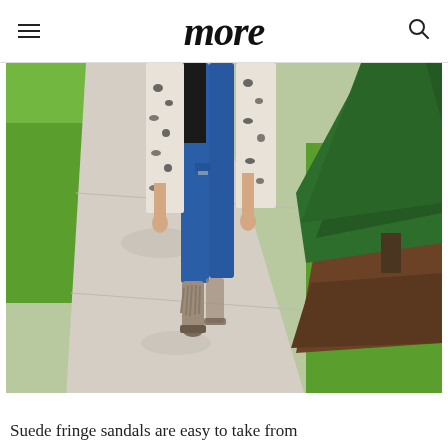more
[Figure (photo): A woman walking on a concrete sidewalk wearing distressed blue skinny jeans, a leopard print cardigan, and gray suede fringe sandal booties. Green grass and a large evergreen tree are visible in the background.]
Suede fringe sandals are easy to take from